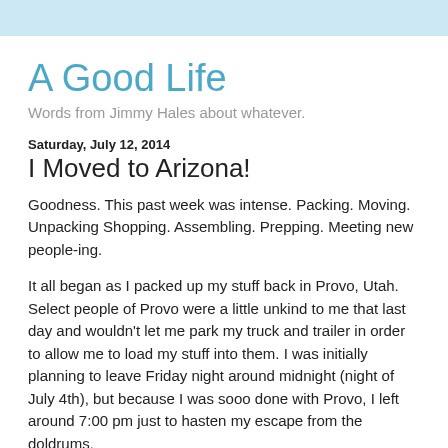A Good Life
Words from Jimmy Hales about whatever.
Saturday, July 12, 2014
I Moved to Arizona!
Goodness. This past week was intense. Packing. Moving. Unpacking Shopping. Assembling. Prepping. Meeting new people-ing.
It all began as I packed up my stuff back in Provo, Utah. Select people of Provo were a little unkind to me that last day and wouldn't let me park my truck and trailer in order to allow me to load my stuff into them. I was initially planning to leave Friday night around midnight (night of July 4th), but because I was sooo done with Provo, I left around 7:00 pm just to hasten my escape from the doldrums.